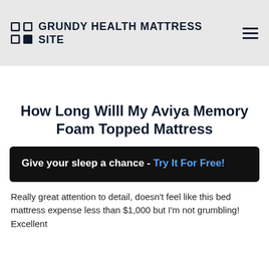GRUNDY HEALTH MATTRESS SITE
How Long Willl My Aviya Memory Foam Topped Mattress
Give your sleep a chance - Try It For Free!
Really great attention to detail, doesn't feel like this bed mattress expense less than $1,000 but I'm not grumbling! Excellent